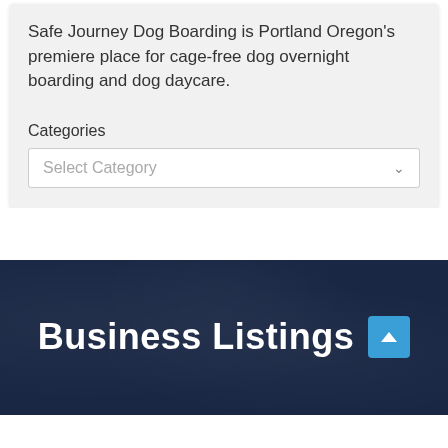Safe Journey Dog Boarding is Portland Oregon's premiere place for cage-free dog overnight boarding and dog daycare.
Categories
Select Category
Business Listings